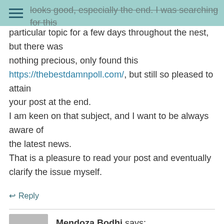[Figure (screenshot): Teal navigation bar with hamburger menu icon at top]
looks good, especially the end. I was searching for this particular topic for a few days throughout the nest, but there was nothing precious, only found this https://thebestdamnpoll.com/, but still so pleased to attain your post at the end. I am keen on that subject, and I want to be always aware of the latest news. That is a pleasure to read your post and eventually clarify the issue myself.
↩ Reply
Mendoza Bodhi says: June 13, 2020 at 10:15 pm
I truly liked this article you've authored. The last time I have read something similarly good was with this post in